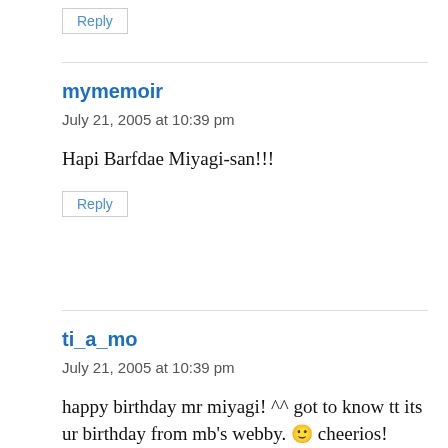Reply
mymemoir
July 21, 2005 at 10:39 pm
Hapi Barfdae Miyagi-san!!!
Reply
ti_a_mo
July 21, 2005 at 10:39 pm
happy birthday mr miyagi! ^^ got to know tt its ur birthday from mb's webby. 🙂 cheerios!